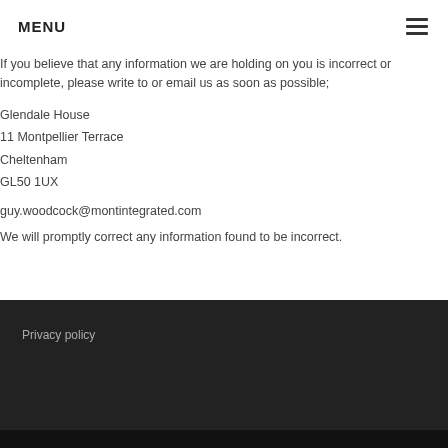MENU
If you believe that any information we are holding on you is incorrect or incomplete, please write to or email us as soon as possible;
Glendale House
11 Montpellier Terrace
Cheltenham
GL50 1UX
guy.woodcock@montintegrated.com
We will promptly correct any information found to be incorrect.
Privacy policy